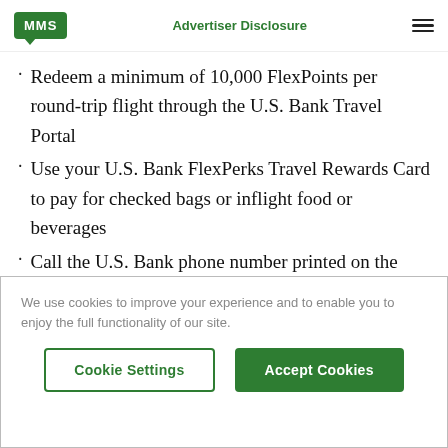MMS | Advertiser Disclosure
Redeem a minimum of 10,000 FlexPoints per round-trip flight through the U.S. Bank Travel Portal
Use your U.S. Bank FlexPerks Travel Rewards Card to pay for checked bags or inflight food or beverages
Call the U.S. Bank phone number printed on the back of your card and request a
We use cookies to improve your experience and to enable you to enjoy the full functionality of our site.
Cookie Settings | Accept Cookies